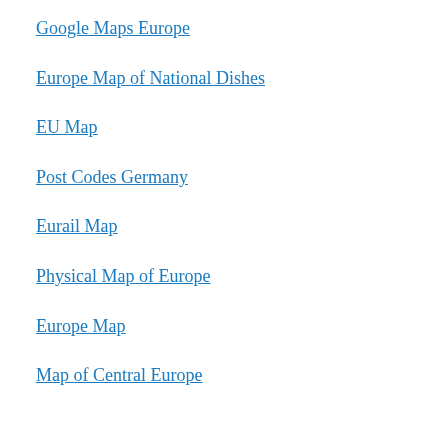Google Maps Europe
Europe Map of National Dishes
EU Map
Post Codes Germany
Eurail Map
Physical Map of Europe
Europe Map
Map of Central Europe